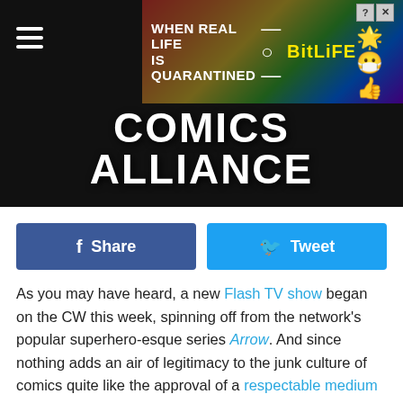[Figure (screenshot): Comics Alliance website header with BitLife advertisement banner above the Comics Alliance logo on a dark/cityscape background]
[Figure (infographic): Facebook Share button (blue) and Twitter Tweet button (cyan) side by side]
As you may have heard, a new Flash TV show began on the CW this week, spinning off from the network's popular superhero-esque series Arrow. And since nothing adds an air of legitimacy to the junk culture of comics quite like the approval of a respectable medium like television, there will doubtless be a number of comics readers, new and old alike, searching out Flash comics for the first time. But the Flash is a character that has been around in one form or another for about seventy years; how on earth would one know how to begin?